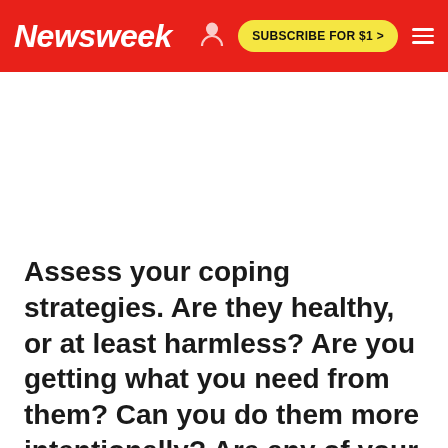Newsweek — SUBSCRIBE FOR $1 >
Assess your coping strategies. Are they healthy, or at least harmless? Are you getting what you need from them? Can you do them more intentionally? Are any of your coping strategies causing problems for you or the